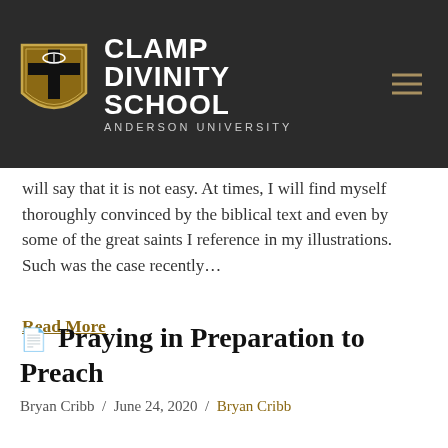CLAMP DIVINITY SCHOOL — ANDERSON UNIVERSITY
will say that it is not easy. At times, I will find myself thoroughly convicted by the biblical text and even by some of the great saints I reference in my illustrations. Such was the case recently…
Read More
Praying in Preparation to Preach
Bryan Cribb / June 24, 2020 / Bryan Cribb